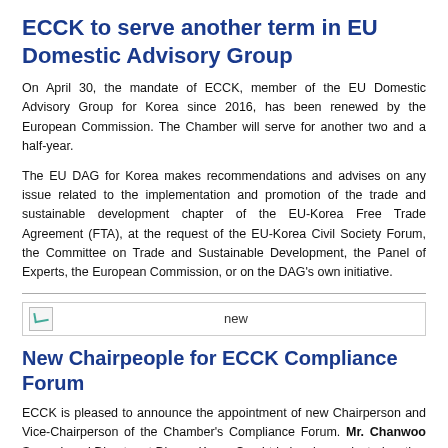ECCK to serve another term in EU Domestic Advisory Group
On April 30, the mandate of ECCK, member of the EU Domestic Advisory Group for Korea since 2016, has been renewed by the European Commission. The Chamber will serve for another two and a half-year.
The EU DAG for Korea makes recommendations and advises on any issue related to the implementation and promotion of the trade and sustainable development chapter of the EU-Korea Free Trade Agreement (FTA), at the request of the EU-Korea Civil Society Forum, the Committee on Trade and Sustainable Development, the Panel of Experts, the European Commission, or on the DAG's own initiative.
[Figure (illustration): Broken image placeholder with label 'new']
New Chairpeople for ECCK Compliance Forum
ECCK is pleased to announce the appointment of new Chairperson and Vice-Chairperson of the Chamber's Compliance Forum. Mr. Chanwoo Sung, Legal Director at Diageo Korea Co., Ltd., has been elected as the